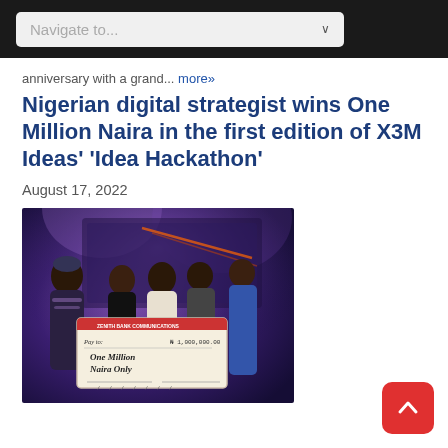Navigate to...
anniversary with a grand... more»
Nigerian digital strategist wins One Million Naira in the first edition of X3M Ideas' 'Idea Hackathon'
August 17, 2022
[Figure (photo): Group of people on stage holding a large ceremonial cheque reading 'One Million Naira Only' at the X3M Ideas Idea Hackathon event]